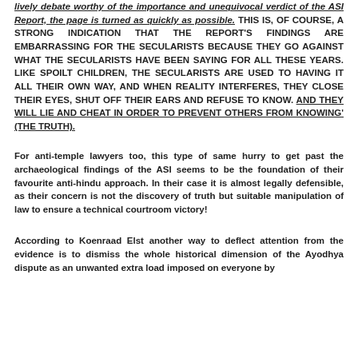lively debate worthy of the importance and unequivocal verdict of the ASI Report, the page is turned as quickly as possible. THIS IS, OF COURSE, A STRONG INDICATION THAT THE REPORT'S FINDINGS ARE EMBARRASSING FOR THE SECULARISTS BECAUSE THEY GO AGAINST WHAT THE SECULARISTS HAVE BEEN SAYING FOR ALL THESE YEARS. LIKE SPOILT CHILDREN, THE SECULARISTS ARE USED TO HAVING IT ALL THEIR OWN WAY, AND WHEN REALITY INTERFERES, THEY CLOSE THEIR EYES, SHUT OFF THEIR EARS AND REFUSE TO KNOW. AND THEY WILL LIE AND CHEAT IN ORDER TO PREVENT OTHERS FROM KNOWING' (THE TRUTH).
For anti-temple lawyers too, this type of same hurry to get past the archaeological findings of the ASI seems to be the foundation of their favourite anti-hindu approach. In their case it is almost legally defensible, as their concern is not the discovery of truth but suitable manipulation of law to ensure a technical courtroom victory!
According to Koenraad Elst another way to deflect attention from the evidence is to dismiss the whole historical dimension of the Ayodhya dispute as an unwanted extra load imposed on everyone by